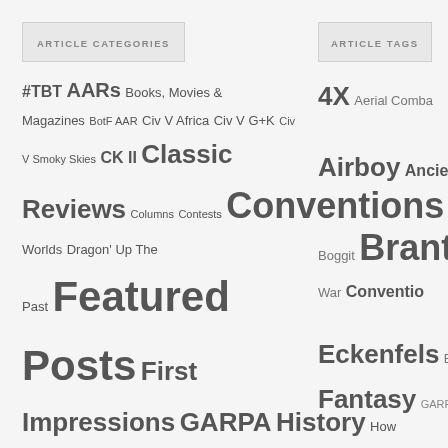ARTICLE CATEGORIES
#TBT AARs Books, Movies & Magazines BotF AAR Civ V Africa Civ V G+K Civ V Smoky Skies CK II Classic Reviews Columns Contests Conventions Distant Worlds Dragon' Up The Past Featured Posts First Impressions GARPA History How To Make It In The Game Business Interviews News Order of Battle Pacific Outpost Gamma AAR Pix and Pics Previews Research Reviews Tech Tracer Rounds Trenches...
ARTICLE TAGS
4X Aerial Combat Airboy Ancient Boggit Brant War Conventions Eckenfels Eu Fantasy GARPA History Industry Medieval Miniat Near Future Operational C PC Gam Sci Fi...